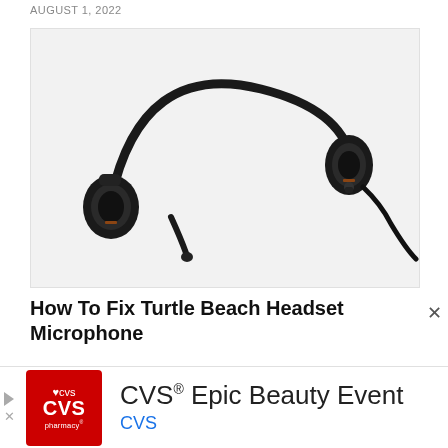AUGUST 1, 2022
[Figure (photo): A black over-ear headset with a microphone boom, lying on a white background. Single-ear design with foam ear cushion, headband, and a long curving black cable leading to a 3.5mm connector.]
How To Fix Turtle Beach Headset Microphone
[Figure (logo): CVS pharmacy logo — red rectangle with white heart and 'CVS pharmacy' text]
CVS® Epic Beauty Event
CVS